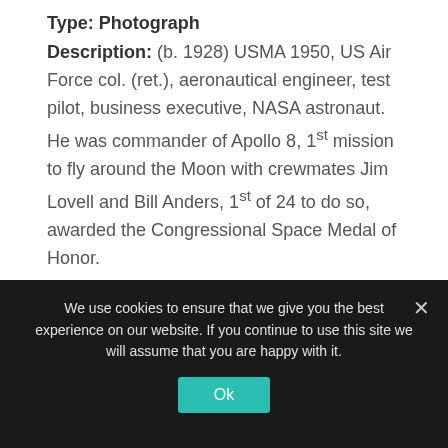Type: Photograph
Description: (b. 1928) USMA 1950, US Air Force col. (ret.), aeronautical engineer, test pilot, business executive, NASA astronaut. He was commander of Apollo 8, 1st mission to fly around the Moon with crewmates Jim Lovell and Bill Anders, 1st of 24 to do so, awarded the Congressional Space Medal of Honor.
We use cookies to ensure that we give you the best experience on our website. If you continue to use this site we will assume that you are happy with it.